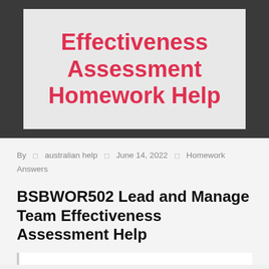[Figure (illustration): Gray banner/hero image with red bold text reading 'Effectiveness Assessment Homework Help' on a light gray box over a dark charcoal background]
By  australian help  June 14, 2022  Homework Answers
BSBWOR502 Lead and Manage Team Effectiveness Assessment Help